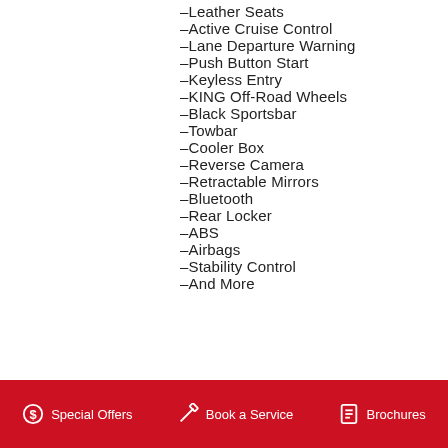-Leather Seats
-Active Cruise Control
-Lane Departure Warning
-Push Button Start
-Keyless Entry
-KING Off-Road Wheels
-Black Sportsbar
-Towbar
-Cooler Box
-Reverse Camera
-Retractable Mirrors
-Bluetooth
-Rear Locker
-ABS
-Airbags
-Stability Control
-And More
$ Special Offers   Book a Service   Brochures